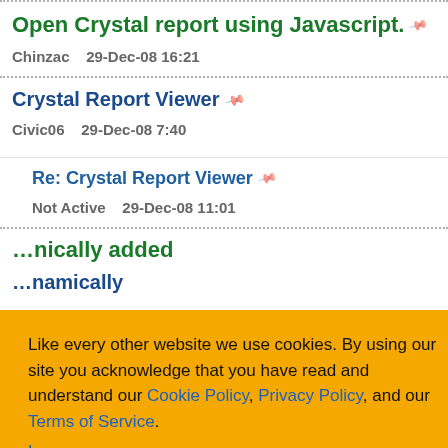Open Crystal report using Javascript.
Chinzac   29-Dec-08 16:21
Crystal Report Viewer
Civic06   29-Dec-08 7:40
Re: Crystal Report Viewer
Not Active   29-Dec-08 11:01
Like every other website we use cookies. By using our site you acknowledge that you have read and understand our Cookie Policy, Privacy Policy, and our Terms of Service. Learn more
Ask me later | Decline | Allow cookies
nically added
namically
Refresh  ◁ Prev  1 ... 387  388  389  390  391  Next ▷